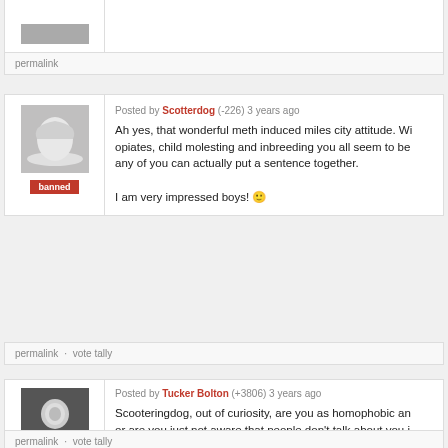[Figure (screenshot): Top partial comment block showing bottom of a user avatar (gray placeholder with white shape) and a permalink footer bar]
permalink
[Figure (screenshot): Comment block: Posted by Scotterdog (-226) 3 years ago. Banned user avatar. Text: Ah yes, that wonderful meth induced miles city attitude. Wi... opiates, child molesting and inbreeding you all seem to be... any of you can actually put a sentence together. I am very impressed boys!]
permalink · vote tally
[Figure (screenshot): Comment block: Posted by Tucker Bolton (+3806) 3 years ago. Founder/supporter user with photo. Text: Scooteringdog, out of curiosity, are you as homophobic an... or are you just not aware that people don't talk about you i... know? I'm not usually willing to engage in a battle of wits w... assume, man) but in your case, I will make an exception.]
permalink · vote tally